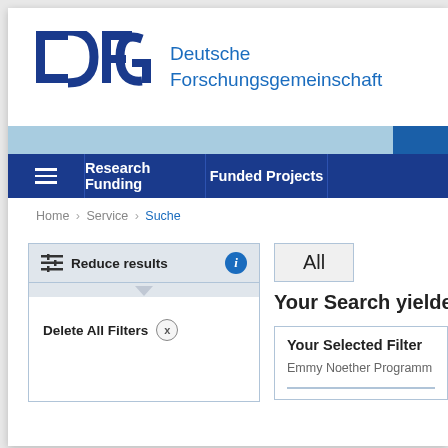[Figure (logo): DFG Deutsche Forschungsgemeinschaft logo with bold blue DFG letters and blue text]
Research Funding   Funded Projects
Home › Service › Suche
Reduce results
Delete All Filters
All
Your Search yielde
Your Selected Filter
Emmy Noether Programm